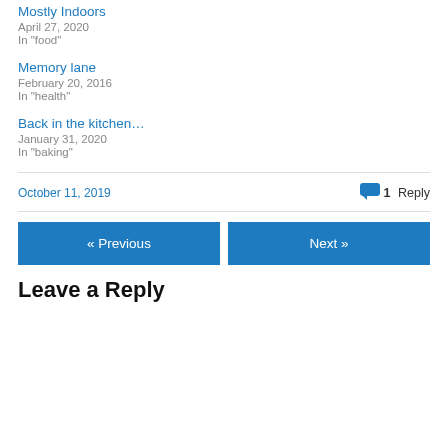Mostly Indoors
April 27, 2020
In "food"
Memory lane
February 20, 2016
In "health"
Back in the kitchen…
January 31, 2020
In "baking"
October 11, 2019    1 Reply
« Previous
Next »
Leave a Reply